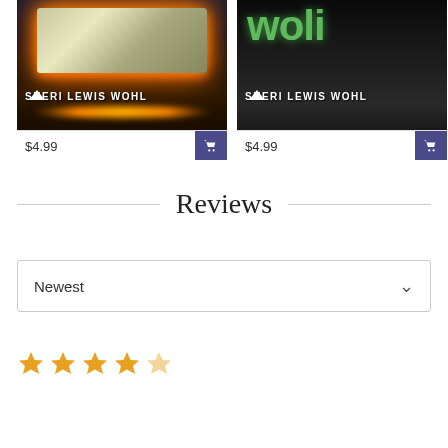[Figure (photo): Book cover for Sheri Lewis Wohl - glowing ancient book on dark background with golden light]
$4.99
[Figure (photo): Book cover for Sheri Lewis Wohl - wolf themed title with green text on dark rainy forest background]
$4.99
Reviews
Newest
[Figure (other): 5 star rating icons in gold/orange color]